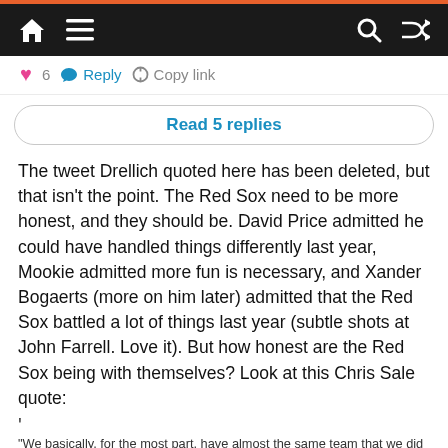Navigation bar with home, menu, search, shuffle icons
❤ 6  Reply  Copy link
Read 5 replies
The tweet Drellich quoted here has been deleted, but that isn't the point. The Red Sox need to be more honest, and they should be. David Price admitted he could have handled things differently last year, Mookie admitted more fun is necessary, and Xander Bogaerts (more on him later) admitted that the Red Sox battled a lot of things last year (subtle shots at John Farrell. Love it). But how honest are the Red Sox being with themselves? Look at this Chris Sale quote:
"We basically, for the most part, have almost the same team that we did last year, and we were the best team in our division," the ace lefty said Wednesday. "I know people like to talk about this and that, but we were the best with what we have."